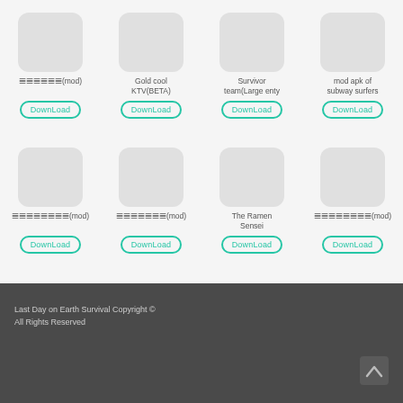[Figure (screenshot): App grid with 8 app icons (placeholders), names, and Download buttons in 4x2 layout]
ꦠꦺꦴꦟꦼꦁꦃ(mod) - DownLoad
Gold cool KTV(BETA) - DownLoad
Survivor team(Large enty - DownLoad
mod apk of subway surfers - DownLoad
ꦠꦺꦴꦟꦼꦁꦃꦤꦿꦺꦴ(mod) - DownLoad
ꦠꦺꦴꦟꦼꦁꦲꦿ(mod) - DownLoad
The Ramen Sensei - DownLoad
ꦠꦺꦴꦟꦼꦁꦃꦤꦿꦺꦴ(mod) - DownLoad
Last Day on Earth Survival Copyright ©
All Rights Reserved